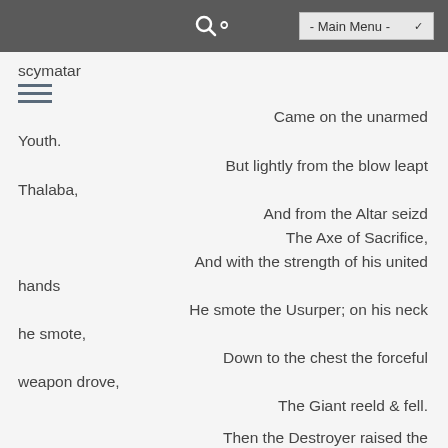- Main Menu -
scymatar
Came on the unarmed Youth.
But lightly from the blow leapt Thalaba,
And from the Altar seizd
The Axe of Sacrifice,
And with the strength of his united hands
He smote the Usurper; on his neck he smote,
Down to the chest the forceful weapon drove,
The Giant reeld & fell.
Then the Destroyer raised the reeking Axe